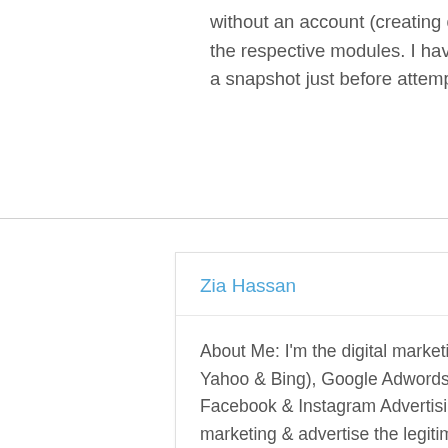without an account (creating dummy motif.conf the respective modules. I have no idea what ma a snapshot just before attempting to add a GV a
Zia Hassan
About Me: I'm the digital marketing specialist, competent in SEO (Google, Yahoo & Bing), Google Adwords (Search, Display, Google Shopping etc.), Facebook & Instagram Advertising etc. I can work in all platforms of digital marketing & advertise the legitimate products/services in a specific